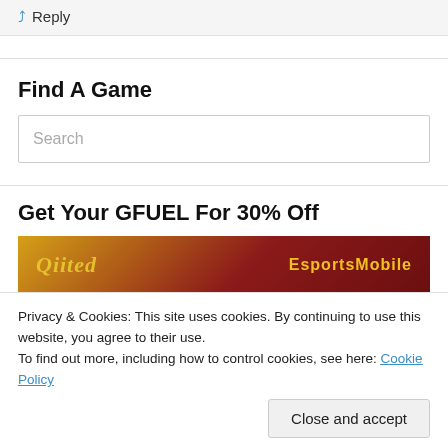Reply
Find A Game
Search
Get Your GFUEL For 30% Off
[Figure (photo): GFUEL promotional banner with red and gold background, showing cursive text and EsportsMobile branding]
Privacy & Cookies: This site uses cookies. By continuing to use this website, you agree to their use.
To find out more, including how to control cookies, see here: Cookie Policy
Close and accept